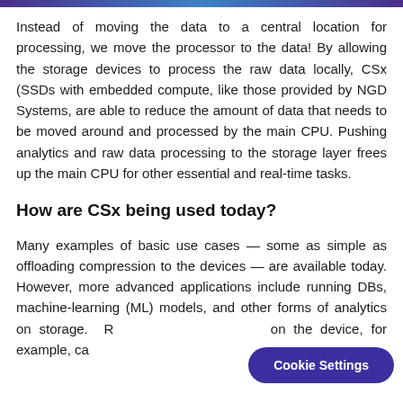Instead of moving the data to a central location for processing, we move the processor to the data! By allowing the storage devices to process the raw data locally, CSx (SSDs with embedded compute, like those provided by NGD Systems, are able to reduce the amount of data that needs to be moved around and processed by the main CPU. Pushing analytics and raw data processing to the storage layer frees up the main CPU for other essential and real-time tasks.
How are CSx being used today?
Many examples of basic use cases — some as simple as offloading compression to the devices — are available today. However, more advanced applications include running DBs, machine-learning (ML) models, and other forms of analytics on storage. Running a full Linux OS on the device, for example, can...